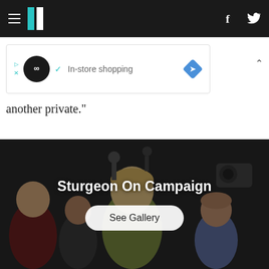HuffPost navigation bar with hamburger menu, logo, Facebook and Twitter icons
[Figure (screenshot): Ad banner showing an infinity loop icon, checkmark, 'In-store shopping' text, and a blue direction sign diamond icon]
another private."
[Figure (photo): Photo of Nicola Sturgeon on campaign trail surrounded by supporters and media, with overlay title 'Sturgeon On Campaign' and a 'See Gallery' button]